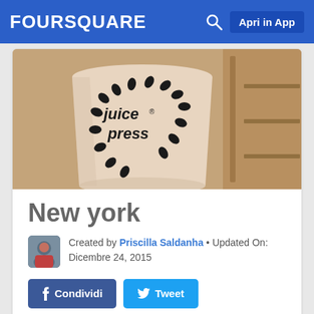FOURSQUARE  Apri in App
[Figure (photo): Close-up photo of a Juice Press branded cup with black dot/teardrop pattern on light background, with wooden shelving visible in background]
New york
Created by Priscilla Saldanha • Updated On: Dicembre 24, 2015
Condividi  Tweet
[Figure (photo): Partial bottom view of another Juice Press cup photo, cropped]